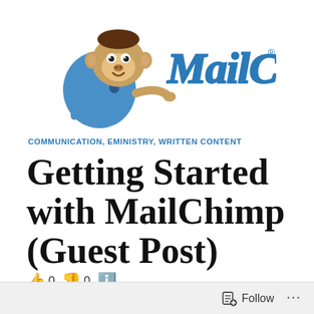[Figure (logo): MailChimp logo with cartoon monkey mascot carrying a bag and the MailChimp wordmark in blue script]
COMMUNICATION, EMINISTRY, WRITTEN CONTENT
Getting Started with MailChimp (Guest Post)
👍 0 👎 0 ℹ️
Follow ...